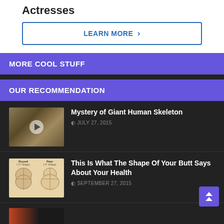Actresses
LEARN MORE >
MORE COOL STUFF
OUR RECOMMENDATION
[Figure (photo): Thumbnail image of giant human skeleton with play button overlay]
Mystery of Giant Human Skeleton
JULY 27, 2015
[Figure (illustration): Diagram comparing Round (O Shape) and Pear (A Shape) butt shapes]
This Is What The Shape Of Your Butt Says About Your Health
SEPTEMBER 27, 2015